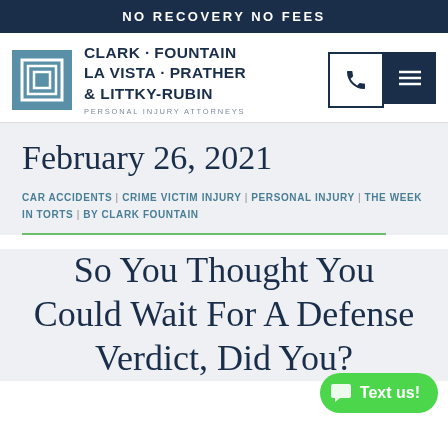NO RECOVERY NO FEES
CLARK · FOUNTAIN LA VISTA · PRATHER & LITTKY-RUBIN
PERSONAL INJURY ATTORNEYS
February 26, 2021
CAR ACCIDENTS | CRIME VICTIM INJURY | PERSONAL INJURY | THE WEEK IN TORTS | BY CLARK FOUNTAIN
So You Thought You Could Wait For A Defense Verdict, Did You?